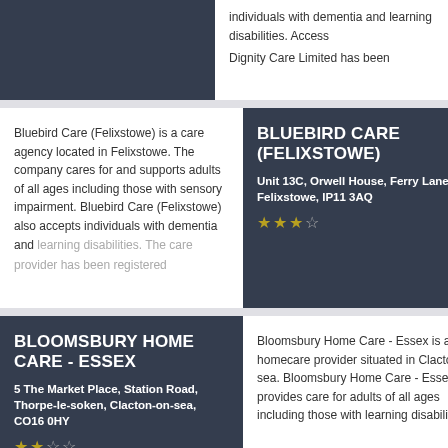[Figure (other): Partial top card showing dark left panel and text about individuals with dementia and learning disabilities; Access Dignity Care Limited (truncated)]
individuals with dementia and learning disabilities. Access Dignity Care Limited has been
BLUEBIRD CARE (FELIXSTOWE)
Unit 13C, Orwell House, Ferry Lane, Felixstowe, IP11 3AQ
★★★☆
Bluebird Care (Felixstowe) is a care agency located in Felixstowe. The company cares for and supports adults of all ages including those with sensory impairment. Bluebird Care (Felixstowe) also accepts individuals with dementia and learning disabilities. The care provider has been registered
BLOOMSBURY HOME CARE - ESSEX
5 The Market Place, Station Road, Thorpe-le-soken, Clacton-on-sea, CO16 0HY
★★☆☆
Bloomsbury Home Care - Essex is a homecare provider situated in Clacton-on-sea. Bloomsbury Home Care - Essex provides care for adults of all ages including those with learning disabilities.